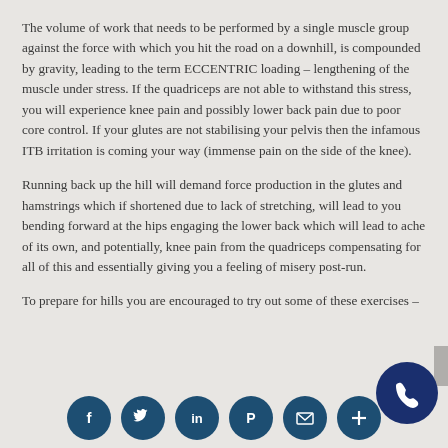The volume of work that needs to be performed by a single muscle group against the force with which you hit the road on a downhill, is compounded by gravity, leading to the term ECCENTRIC loading – lengthening of the muscle under stress. If the quadriceps are not able to withstand this stress, you will experience knee pain and possibly lower back pain due to poor core control. If your glutes are not stabilising your pelvis then the infamous ITB irritation is coming your way (immense pain on the side of the knee).
Running back up the hill will demand force production in the glutes and hamstrings which if shortened due to lack of stretching, will lead to you bending forward at the hips engaging the lower back which will lead to ache of its own, and potentially, knee pain from the quadriceps compensating for all of this and essentially giving you a feeling of misery post-run.
To prepare for hills you are encouraged to try out some of these exercises –
[Figure (infographic): Social media icon bar at bottom with Facebook, Twitter, LinkedIn, Pinterest, Email, and Plus icons in dark teal circles, plus a dark navy phone call button circle at bottom right]